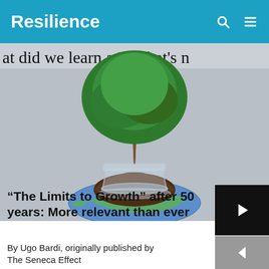Resilience
[Figure (photo): Background text reading 'at did we learn and what's n...' with a composite image of a large green tree growing out of a glass jar sitting on top of a miniature Earth globe, placed on a gray background.]
“The Limits to Growth” after 50 years: More relevant than ever
By Ugo Bardi, originally published by The Seneca Effect